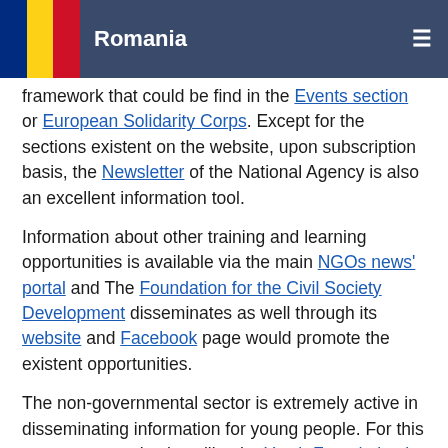Romania
framework that could be find in the Events section or European Solidarity Corps. Except for the sections existent on the website, upon subscription basis, the Newsletter of the National Agency is also an excellent information tool.
Information about other training and learning opportunities is available via the main NGOs news' portal and The Foundation for the Civil Society Development disseminates as well through its website and Facebook page would promote the existent opportunities.
The non-governmental sector is extremely active in disseminating information for young people. For this purpose, organizations like the Youth Foundation in Timisoara is actively promoting training and learning opportunities within its own activities and projects